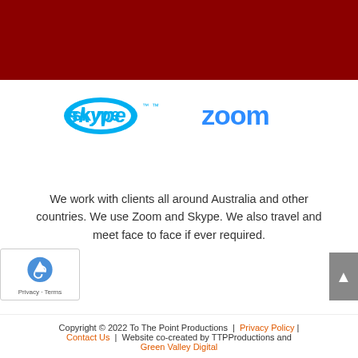[Figure (illustration): Dark red/maroon banner at the top of the page]
[Figure (logo): Skype and Zoom logos side by side in bright blue]
We work with clients all around Australia and other countries. We use Zoom and Skype. We also travel and meet face to face if ever required.
Copyright © 2022 To The Point Productions | Privacy Policy | Contact Us | Website co-created by TTPProductions and Green Valley Digital